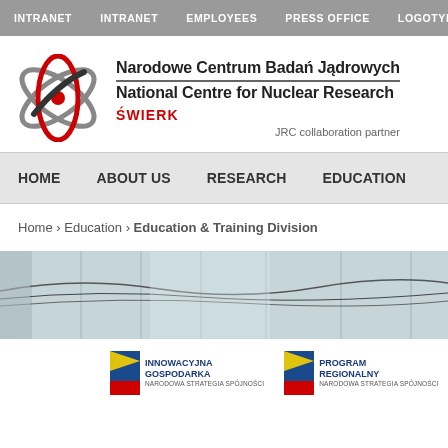INTRANET  INTRANET  EMPLOYEES  PRESS OFFICE  LOGOTYPE LIB
[Figure (logo): Atom logo for Narodowe Centrum Badań Jądrowych / National Centre for Nuclear Research, ŚWIERK. JRC collaboration partner.]
HOME  ABOUT US  RESEARCH  EDUCATION
Home › Education › Education & Training Division
[Figure (photo): Interior photo of a research building or laboratory with large windows and cable/wire installations.]
[Figure (logo): Footer logos: INNOWACYJNA GOSPODARKA (Narodowa Strategia Spójności), PROGRAM REGIONALNY (Narodowa Strategia Spójności), KAPITA... (partial, cut off)]